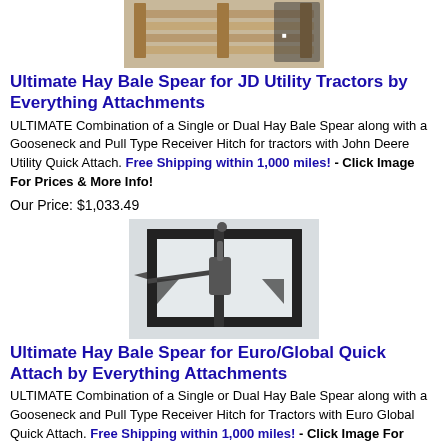[Figure (photo): Photo of hay bale spear / wooden pallet product]
Ultimate Hay Bale Spear for JD Utility Tractors by Everything Attachments
ULTIMATE Combination of a Single or Dual Hay Bale Spear along with a Gooseneck and Pull Type Receiver Hitch for tractors with John Deere Utility Quick Attach. Free Shipping within 1,000 miles! - Click Image For Prices & More Info!
Our Price: $1,033.49
[Figure (photo): Photo of black hay bale spear attachment for Euro/Global Quick Attach]
Ultimate Hay Bale Spear for Euro/Global Quick Attach by Everything Attachments
ULTIMATE Combination of a Single or Dual Hay Bale Spear along with a Gooseneck and Pull Type Receiver Hitch for Tractors with Euro Global Quick Attach. Free Shipping within 1,000 miles! - Click Image For Prices & More Info!